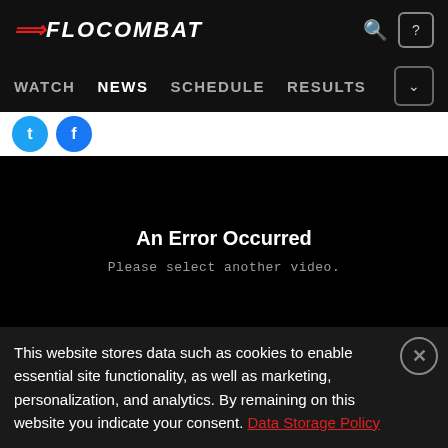FLOCOMBAT
WATCH NEWS SCHEDULE RESULTS
[Figure (screenshot): Two social media share buttons (Twitter/blue and Facebook/dark blue circles) on white bar]
An Error Occurred
Please select another video.
This website stores data such as cookies to enable essential site functionality, as well as marketing, personalization, and analytics. By remaining on this website you indicate your consent. Data Storage Policy